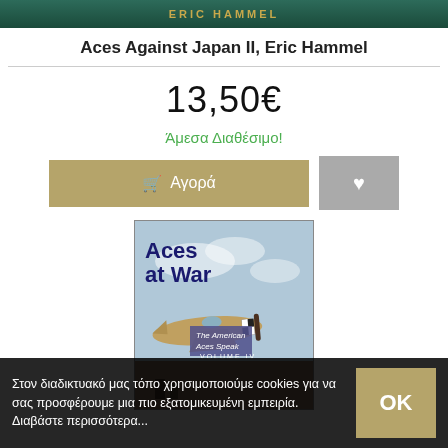[Figure (illustration): Header image showing author name ERIC HAMMEL in gold letters on dark green background]
Aces Against Japan II, Eric Hammel
13,50€
Άμεσα Διαθέσιμο!
[Figure (illustration): Buy button (Αγορά) with cart icon on tan/gold background, and heart/wishlist button on gray background]
[Figure (illustration): Book cover for Aces at War: The American Aces Speak, Volume IV, showing a WWII fighter plane with checkered nose pattern against a cloudy sky]
Στον διαδικτυακό μας τόπο χρησιμοποιούμε cookies για να σας προσφέρουμε μια πιο εξατομικευμένη εμπειρία. Διαβάστε περισσότερα...